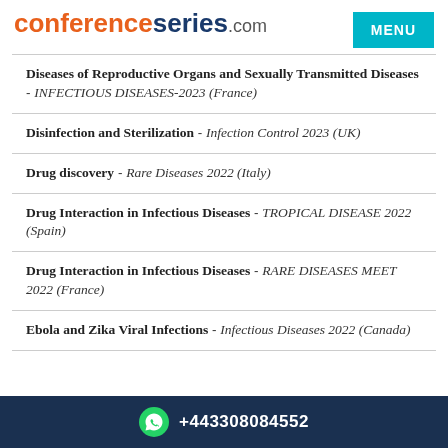conferenceseries.com  MENU
Diseases of Reproductive Organs and Sexually Transmitted Diseases - INFECTIOUS DISEASES-2023 (France)
Disinfection and Sterilization - Infection Control 2023 (UK)
Drug discovery - Rare Diseases 2022 (Italy)
Drug Interaction in Infectious Diseases - TROPICAL DISEASE 2022 (Spain)
Drug Interaction in Infectious Diseases - RARE DISEASES MEET 2022 (France)
Ebola and Zika Viral Infections - Infectious Diseases 2022 (Canada)
+443308084552